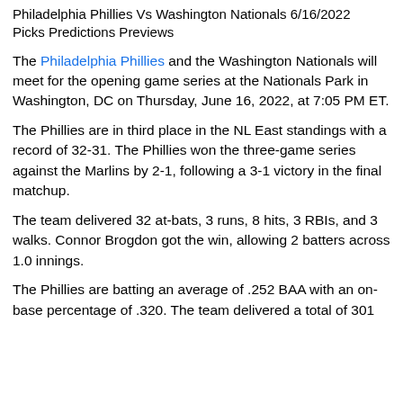Philadelphia Phillies Vs Washington Nationals 6/16/2022 Picks Predictions Previews
The Philadelphia Phillies and the Washington Nationals will meet for the opening game series at the Nationals Park in Washington, DC on Thursday, June 16, 2022, at 7:05 PM ET.
The Phillies are in third place in the NL East standings with a record of 32-31. The Phillies won the three-game series against the Marlins by 2-1, following a 3-1 victory in the final matchup.
The team delivered 32 at-bats, 3 runs, 8 hits, 3 RBIs, and 3 walks. Connor Brogdon got the win, allowing 2 batters across 1.0 innings.
The Phillies are batting an average of .252 BAA with an on-base percentage of .320. The team delivered a total of 301 runs, 500 hits, 80 home runs, 287 RBIs, 197 walks, and 542...